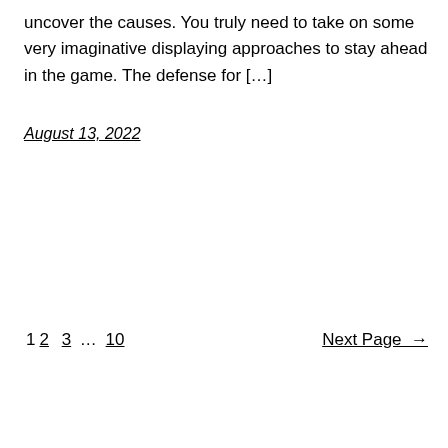uncover the causes. You truly need to take on some very imaginative displaying approaches to stay ahead in the game. The defense for […]
August 13, 2022
1 2 3 … 10   Next Page →